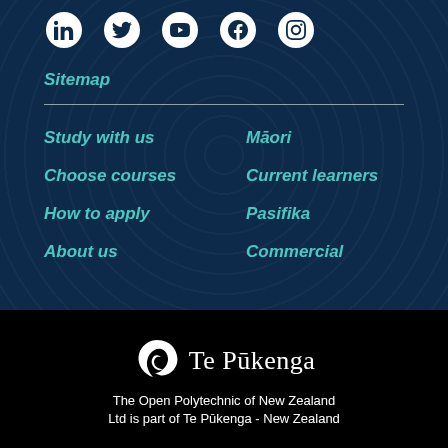[Figure (infographic): Social media icons in white circles: LinkedIn, Twitter, YouTube, Facebook, Instagram on dark navy background]
Sitemap
Study with us
Māori
Choose courses
Current learners
How to apply
Pasifika
About us
Commercial
[Figure (logo): Te Pūkenga logo with white stylized bird/koru mark and text 'Te Pūkenga' on black background]
The Open Polytechnic of New Zealand Ltd is part of Te Pūkenga - New Zealand